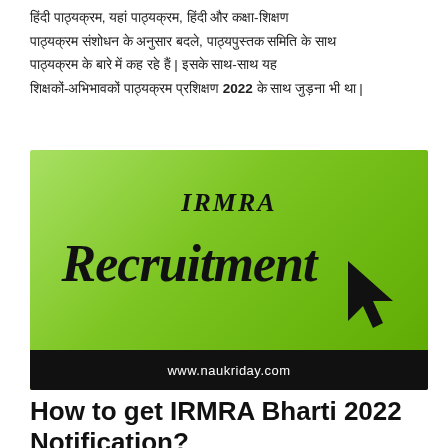हिंदी पाठ्यक्रम, यहां पाठ्यक्रम, हिंदी और कक्षा-शिक्षण पाठ्यक्रम संशोधन के अनुसार बदले, पाठ्यपुस्तक समिति के साथ पाठ्यक्रम के बारे में कह रहे हैं | इसके साथ-साथ यह शिक्षकों-अभिभावकों पाठ्यक्रम प्रशिक्षण 2022 के साथ जुड़ना भी था |
[Figure (illustration): IRMRA Recruitment banner image with green gradient background. Text 'IRMRA' in italic bold at top center, 'Recruitment' in large italic bold below, a cursor/arrow graphic at bottom right, and 'www.naukriday.com' in a black bottom bar.]
How to get IRMRA Bharti 2022 Notification?